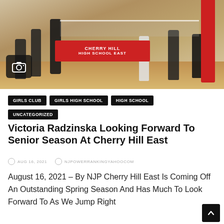[Figure (photo): Indoor volleyball game at Cherry Hill High School East gym. Players in black uniforms, red banner visible, referee standing near net. Cherry Hill High School East banner.]
GIRLS CLUB
GIRLS HIGH SCHOOL
HIGH SCHOOL
UNCATEGORIZED
Victoria Radzinska Looking Forward To Senior Season At Cherry Hill East
AUG 16, 2021   NJPOWERRANKINGYAHOOCOM
August 16, 2021 – By NJP Cherry Hill East Is Coming Off An Outstanding Spring Season And Has Much To Look Forward To As We Jump Right